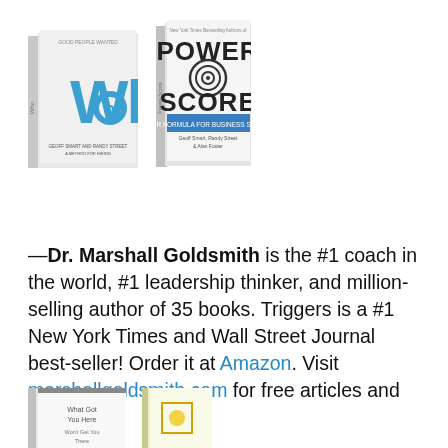[Figure (illustration): Two book covers side by side: 'Who' book on the left (white cover with large blue 'Who' text) and 'Power Score' book on the right (white cover with target/bullseye icon)]
—Dr. Marshall Goldsmith is the #1 coach in the world, #1 leadership thinker, and million-selling author of 35 books. Triggers is a #1 New York Times and Wall Street Journal best-seller! Order it at Amazon. Visit marshallgoldsmith.com for free articles and videos.
[Figure (illustration): Partial book covers at the bottom: 'What Got You Here' book on the left and another book partially visible on the right]